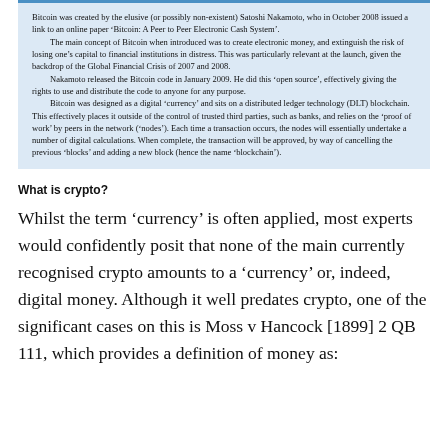Bitcoin was created by the elusive (or possibly non-existent) Satoshi Nakamoto, who in October 2008 issued a link to an online paper ‘Bitcoin: A Peer to Peer Electronic Cash System’. The main concept of Bitcoin when introduced was to create electronic money, and extinguish the risk of losing one’s capital to financial institutions in distress. This was particularly relevant at the launch, given the backdrop of the Global Financial Crisis of 2007 and 2008. Nakamoto released the Bitcoin code in January 2009. He did this ‘open source’, effectively giving the rights to use and distribute the code to anyone for any purpose. Bitcoin was designed as a digital ‘currency’ and sits on a distributed ledger technology (DLT) blockchain. This effectively places it outside of the control of trusted third parties, such as banks, and relies on the ‘proof of work’ by peers in the network (‘nodes’). Each time a transaction occurs, the nodes will essentially undertake a number of digital calculations. When complete, the transaction will be approved, by way of cancelling the previous ‘blocks’ and adding a new block (hence the name ‘blockchain’).
What is crypto?
Whilst the term ‘currency’ is often applied, most experts would confidently posit that none of the main currently recognised crypto amounts to a ‘currency’ or, indeed, digital money. Although it well predates crypto, one of the significant cases on this is Moss v Hancock [1899] 2 QB 111, which provides a definition of money as: